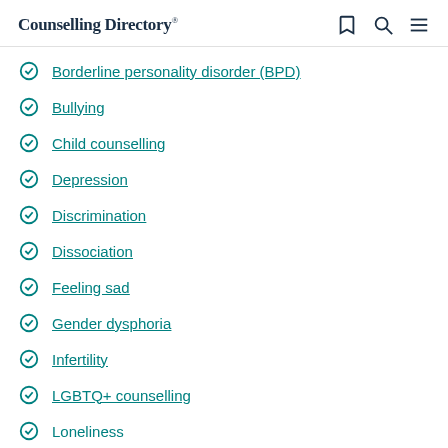Counselling Directory
Borderline personality disorder (BPD)
Bullying
Child counselling
Depression
Discrimination
Dissociation
Feeling sad
Gender dysphoria
Infertility
LGBTQ+ counselling
Loneliness